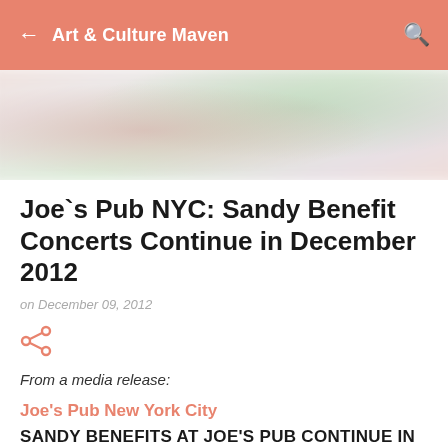Art & Culture Maven
[Figure (photo): Blurred hero image with soft pink, green, and purple tones]
Joe`s Pub NYC: Sandy Benefit Concerts Continue in December 2012
on December 09, 2012
[Figure (other): Share icon]
From a media release:
Joe's Pub New York City
SANDY BENEFITS AT JOE'S PUB CONTINUE IN